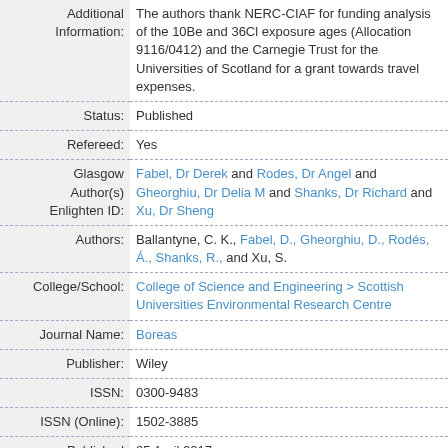| Field | Value |
| --- | --- |
| Additional Information: | The authors thank NERC-CIAF for funding analysis of the 10Be and 36Cl exposure ages (Allocation 9116/0412) and the Carnegie Trust for the Universities of Scotland for a grant towards travel expenses. |
| Status: | Published |
| Refereed: | Yes |
| Glasgow Author(s) Enlighten ID: | Fabel, Dr Derek and Rodes, Dr Angel and Gheorghiu, Dr Delia M and Shanks, Dr Richard and Xu, Dr Sheng |
| Authors: | Ballantyne, C. K., Fabel, D., Gheorghiu, D., Rodés, Á., Shanks, R., and Xu, S. |
| College/School: | College of Science and Engineering > Scottish Universities Environmental Research Centre |
| Journal Name: | Boreas |
| Publisher: | Wiley |
| ISSN: | 0300-9483 |
| ISSN (Online): | 1502-3885 |
| Published | 25 April 2017 |